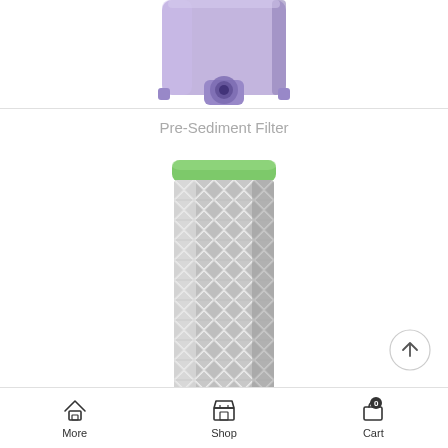[Figure (photo): Top portion of a purple/lavender translucent plastic water filter container, partially cropped at the top of the page.]
Pre-Sediment Filter
[Figure (photo): A cylindrical water filter cartridge with a green cap on top and a gray mesh/lattice pattern body, partially cropped at the bottom.]
[Figure (other): Circular scroll-to-top button with an upward arrow icon, dark outline on white background.]
More  Shop  Cart